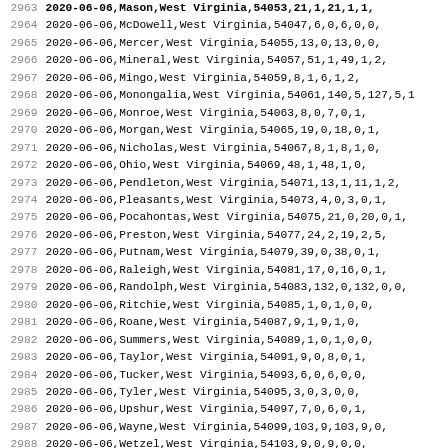| 2963 | 2020-06-06,Mason,West Virginia,54053,21,1,21,1,1, |
| 2964 | 2020-06-06,McDowell,West Virginia,54047,6,0,6,0,0, |
| 2965 | 2020-06-06,Mercer,West Virginia,54055,13,0,13,0,0, |
| 2966 | 2020-06-06,Mineral,West Virginia,54057,51,1,49,1,2, |
| 2967 | 2020-06-06,Mingo,West Virginia,54059,8,1,6,1,2, |
| 2968 | 2020-06-06,Monongalia,West Virginia,54061,140,5,127,5,1 |
| 2969 | 2020-06-06,Monroe,West Virginia,54063,8,0,7,0,1, |
| 2970 | 2020-06-06,Morgan,West Virginia,54065,19,0,18,0,1, |
| 2971 | 2020-06-06,Nicholas,West Virginia,54067,8,1,8,1,0, |
| 2972 | 2020-06-06,Ohio,West Virginia,54069,48,1,48,1,0, |
| 2973 | 2020-06-06,Pendleton,West Virginia,54071,13,1,11,1,2, |
| 2974 | 2020-06-06,Pleasants,West Virginia,54073,4,0,3,0,1, |
| 2975 | 2020-06-06,Pocahontas,West Virginia,54075,21,0,20,0,1, |
| 2976 | 2020-06-06,Preston,West Virginia,54077,24,2,19,2,5, |
| 2977 | 2020-06-06,Putnam,West Virginia,54079,39,0,38,0,1, |
| 2978 | 2020-06-06,Raleigh,West Virginia,54081,17,0,16,0,1, |
| 2979 | 2020-06-06,Randolph,West Virginia,54083,132,0,132,0,0, |
| 2980 | 2020-06-06,Ritchie,West Virginia,54085,1,0,1,0,0, |
| 2981 | 2020-06-06,Roane,West Virginia,54087,9,1,9,1,0, |
| 2982 | 2020-06-06,Summers,West Virginia,54089,1,0,1,0,0, |
| 2983 | 2020-06-06,Taylor,West Virginia,54091,9,0,8,0,1, |
| 2984 | 2020-06-06,Tucker,West Virginia,54093,6,0,6,0,0, |
| 2985 | 2020-06-06,Tyler,West Virginia,54095,3,0,3,0,0, |
| 2986 | 2020-06-06,Upshur,West Virginia,54097,7,0,6,0,1, |
| 2987 | 2020-06-06,Wayne,West Virginia,54099,103,9,103,9,0, |
| 2988 | 2020-06-06,Wetzel,West Virginia,54103,9,0,9,0,0, |
| 2989 | 2020-06-06,Wirt,West Virginia,54105,4,0,4,0,0, |
| 2990 | 2020-06-06,Wood,West Virginia,54107,54,2,51,2,3, |
| 2991 | 2020-06-06,Wyoming,West Virginia,54109,2,0,2,0,0, |
| 2992 | 2020-06-06,Adams,Wisconsin,55001,5,1,5,1,, |
| 2993 | 2020-06-06,Ashland,Wisconsin,55003,3,0,3,0,, |
| 2994 | 2020-06-06,Barron,Wisconsin,55005,20,0,20,0,, |
| 2995 | 2020-06-06,Bayfield,Wisconsin,55007,3,1,3,1,, |